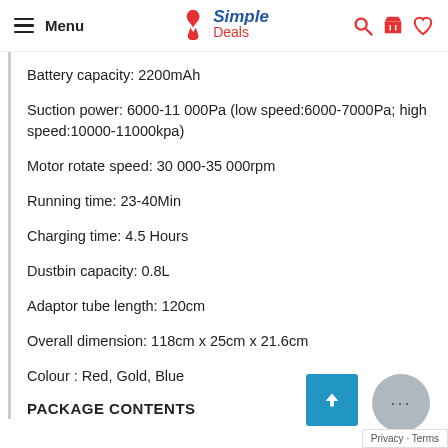Menu | Simple Deals
Battery capacity: 2200mAh
Suction power: 6000-11 000Pa (low speed:6000-7000Pa; high speed:10000-11000kpa)
Motor rotate speed: 30 000-35 000rpm
Running time: 23-40Min
Charging time: 4.5 Hours
Dustbin capacity: 0.8L
Adaptor tube length: 120cm
Overall dimension: 118cm x 25cm x 21.6cm
Colour : Red, Gold, Blue
PACKAGE CONTENTS